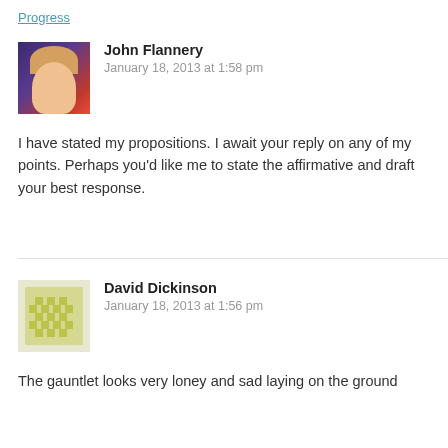Progress
John Flannery
January 18, 2013 at 1:58 pm
I have stated my propositions. I await your reply on any of my points. Perhaps you'd like me to state the affirmative and draft your best response.
David Dickinson
January 18, 2013 at 1:56 pm
The gauntlet looks very loney and sad laying on the ground